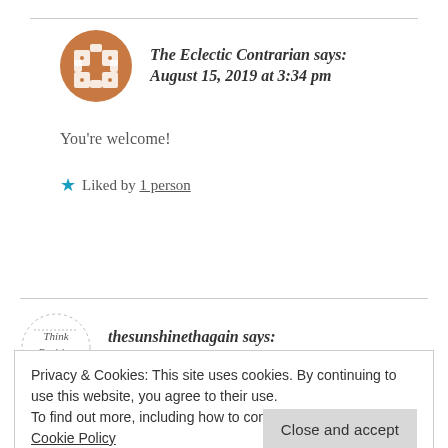The Eclectic Contrarian says: August 15, 2019 at 3:34 pm
You're welcome!
Liked by 1 person
thesunshinethagain says: August 16, 2019 at 4:14 am
Privacy & Cookies: This site uses cookies. By continuing to use this website, you agree to their use. To find out more, including how to control cookies, see here: Cookie Policy
Close and accept
Reply